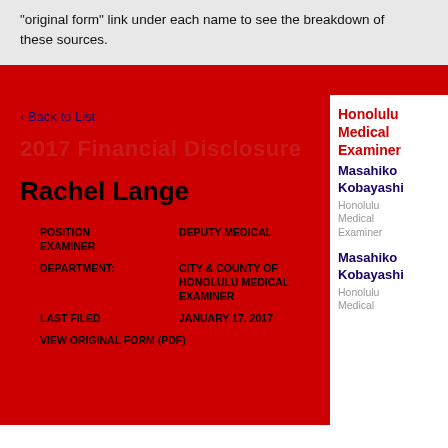"original form" link under each name to see the breakdown of these sources.
< Back to List
2017 Financial Disclosure
Rachel Lange
POSITION
DEPUTY MEDICAL EXAMINER
DEPARTMENT:
CITY & COUNTY OF HONOLULU MEDICAL EXAMINER
LAST FILED
JANUARY 17, 2017
VIEW ORIGINAL FORM (PDF)
Honolulu Medical Examiner
Masahiko Kobayashi
Honolulu Medical Examiner
Masahiko Kobayashi
Honolulu Medical